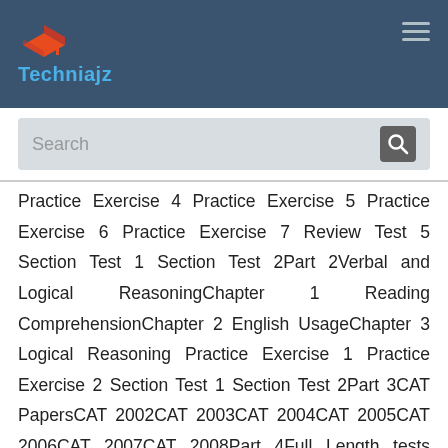[Figure (logo): Techniajz logo with orange graduation cap icon and teal text]
Practice Exercise 4 Practice Exercise 5 Practice Exercise 6 Practice Exercise 7 Review Test 5 Section Test 1 Section Test 2Part 2Verbal and Logical ReasoningChapter 1 Reading ComprehensionChapter 2 English UsageChapter 3 Logical Reasoning Practice Exercise 1 Practice Exercise 2 Section Test 1 Section Test 2Part 3CAT PapersCAT 2002CAT 2003CAT 2004CAT 2005CAT 2006CAT 2007CAT 2008Part 4Full Length tests Based on Cat 2013 PatternTest 1Test 2 Salient Features More than 2,000 fully solved quality questions Last 7 years' solved CAT papers Three Full Length